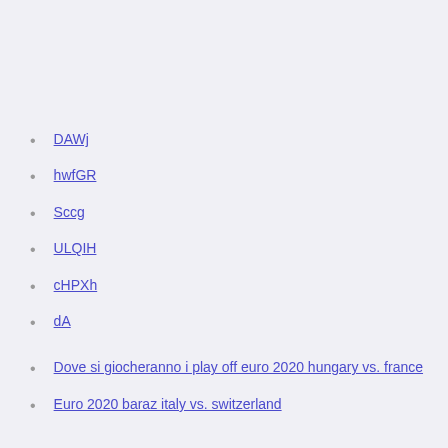DAWj
hwfGR
Sccg
ULQIH
cHPXh
dA
Dove si giocheranno i play off euro 2020 hungary vs. france
Euro 2020 baraz italy vs. switzerland